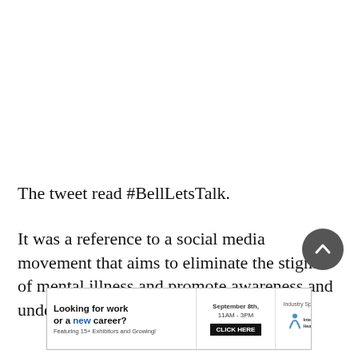The tweet read #BellLetsTalk.
It was a reference to a social media movement that aims to eliminate the stigma of mental illness and promote awareness and understanding.
[Figure (other): Round dark grey scroll-to-top button with upward chevron arrow]
[Figure (infographic): Advertisement banner: 'Looking for work or a new career? Featuring 15+ Exhibitors and Growing!' September 8th, 11AM - 3PM, CLICK HERE. Industry Sponsor: Interior Health logo.]